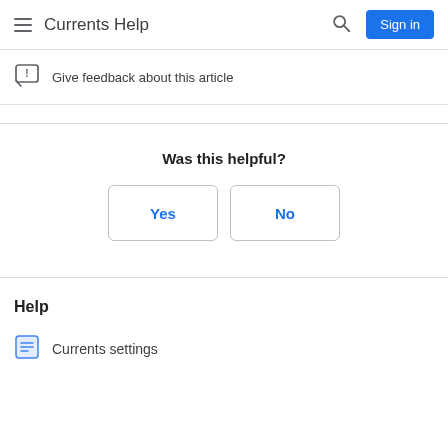Currents Help
Give feedback about this article
Was this helpful?
Yes
No
Help
Currents settings